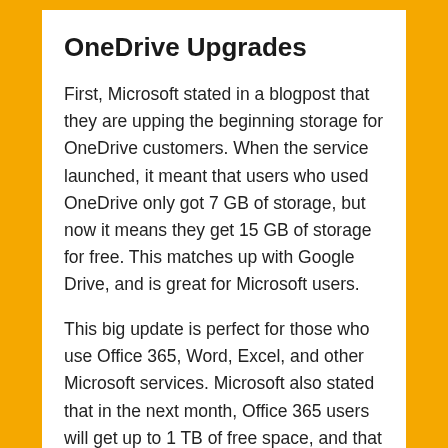OneDrive Upgrades
First, Microsoft stated in a blogpost that they are upping the beginning storage for OneDrive customers. When the service launched, it meant that users who used OneDrive only got 7 GB of storage, but now it means they get 15 GB of storage for free. This matches up with Google Drive, and is great for Microsoft users.
This big update is perfect for those who use Office 365, Word, Excel, and other Microsoft services. Microsoft also stated that in the next month, Office 365 users will get up to 1 TB of free space, and that is a huge upgrade from the 20 GB they get now. That was only done for business